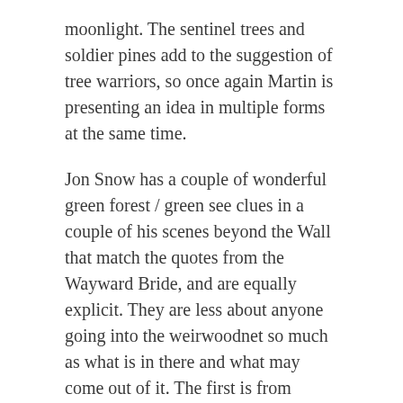moonlight. The sentinel trees and soldier pines add to the suggestion of tree warriors, so once again Martin is presenting an idea in multiple forms at the same time.
Jon Snow has a couple of wonderful green forest / green see clues in a couple of his scenes beyond the Wall that match the quotes from the Wayward Bride, and are equally explicit. They are less about anyone going into the weirwoodnet so much as what is in there and what may come out of it. The first is from ACOK:
A blowing rain lashed at Jon's face as he spurred his horse across the swollen stream. Beside him, Lord Commander Mormont gave the hood of his cloak a tug, muttering curses on the weather. His raven sat on his shoulder, feathers ruffled, as soaked and